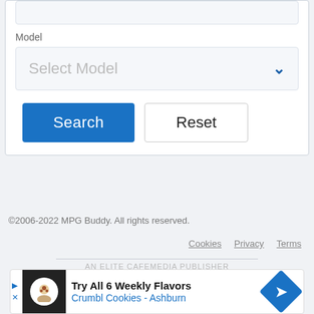[Figure (screenshot): Web form UI showing a Model dropdown field with 'Select Model' placeholder and a blue chevron, plus Search (blue) and Reset (white) buttons]
©2006-2022 MPG Buddy. All rights reserved.
Cookies   Privacy   Terms
AN ELITE CAFEMEDIA PUBLISHER
[Figure (other): Advertisement banner: Try All 6 Weekly Flavors - Crumbl Cookies - Ashburn]